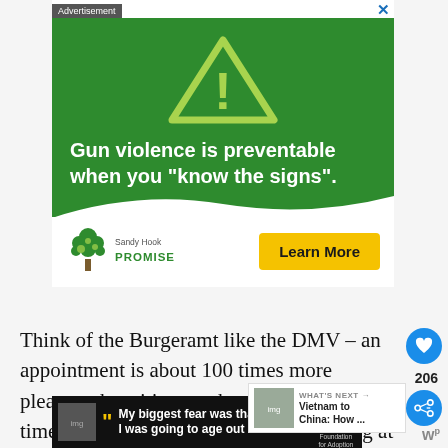[Figure (screenshot): Sandy Hook Promise advertisement banner with green background, warning triangle with exclamation mark, text 'Gun violence is preventable when you "know the signs".' and a 'Learn More' yellow button with Sandy Hook Promise logo.]
Think of the Burgeramt like the DMV – an appointment is about 100 times more pleasant th waiting can be. However, wait times for an appointment are months-long at the mo usually, you'll have to head to an office that is not at al
[Figure (screenshot): What's Next widget showing 'Vietnam to China: How ...' with a thumbnail image.]
[Figure (screenshot): Bottom advertisement: 'My biggest fear was that I was going to age out and' with Dave Thomas Foundation for Adoption logo.]